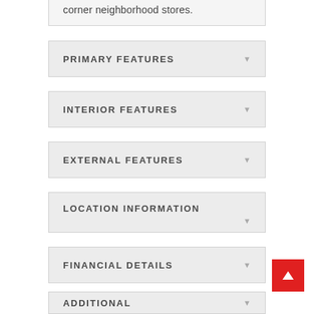corner neighborhood stores.
PRIMARY FEATURES
INTERIOR FEATURES
EXTERNAL FEATURES
LOCATION INFORMATION
FINANCIAL DETAILS
ADDITIONAL